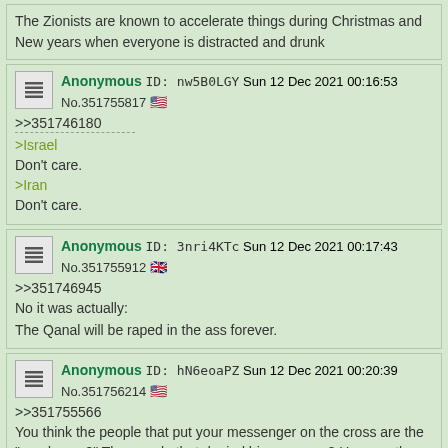The Zionists are known to accelerate things during Christmas and New years when everyone is distracted and drunk
Anonymous ID: nw5B0LGY Sun 12 Dec 2021 00:16:53 No.351755817 >>351746180 >Israel Don't care. >Iran Don't care.
Anonymous ID: 3nri4KTc Sun 12 Dec 2021 00:17:43 No.351755912 >>351746945 No it was actually: The Qanal will be raped in the ass forever.
Anonymous ID: hN6eoaPZ Sun 12 Dec 2021 00:20:39 No.351756214 >>351755566 You think the people that put your messenger on the cross are the "good ones?" The people that denied his message? How are they at all communists? Whatever reality you live in, it's not real. If you want "those families" to be fine, why not take in refugees without